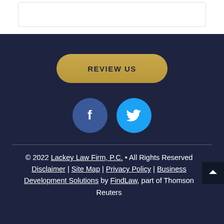[Figure (screenshot): Top white card/container area partially visible at top of page]
REVIEW US
[Figure (illustration): Facebook circle icon (dark blue) and Twitter circle icon (light blue) as social media buttons]
© 2022 Lackey Law Firm, P.C. • All Rights Reserved Disclaimer | Site Map | Privacy Policy | Business Development Solutions by FindLaw, part of Thomson Reuters